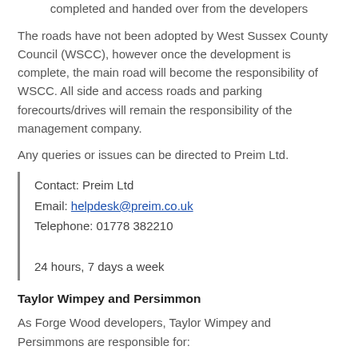maintenance of play areas which these have been completed and handed over from the developers
The roads have not been adopted by West Sussex County Council (WSCC), however once the development is complete, the main road will become the responsibility of WSCC. All side and access roads and parking forecourts/drives will remain the responsibility of the management company.
Any queries or issues can be directed to Preim Ltd.
Contact: Preim Ltd
Email: helpdesk@preim.co.uk
Telephone: 01778 382210

24 hours, 7 days a week
Taylor Wimpey and Persimmon
As Forge Wood developers, Taylor Wimpey and Persimmons are responsible for: